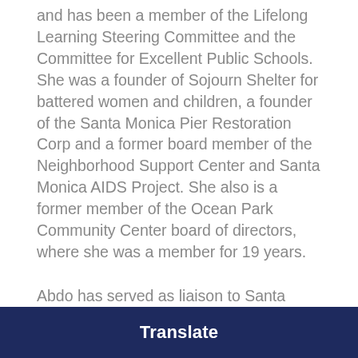and has been a member of the Lifelong Learning Steering Committee and the Committee for Excellent Public Schools. She was a founder of Sojourn Shelter for battered women and children, a founder of the Santa Monica Pier Restoration Corp and a former board member of the Neighborhood Support Center and Santa Monica AIDS Project. She also is a former member of the Ocean Park Community Center board of directors, where she was a member for 19 years.
Abdo has served as liaison to Santa Monica's Planning Commission,
Translate